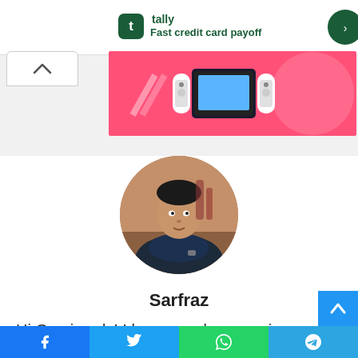[Figure (screenshot): Tally app advertisement banner at top of page, white background with green Tally logo icon and text 'tally' and 'Fast credit card payoff', with a green circular CTA button on the right]
[Figure (photo): Pink/magenta advertisement banner showing Nintendo Switch gaming controllers and accessories]
[Figure (photo): Circular profile photo of Sarfraz, a man wearing a dark jacket with arms crossed, sitting at a table in a restaurant/cafe setting]
Sarfraz
Hi Gaminerds! I know you love gaming and so do I. This is the place where we
[Figure (screenshot): Social media share buttons bar at bottom: Facebook (blue), Twitter (cyan), WhatsApp (green), Telegram (blue)]